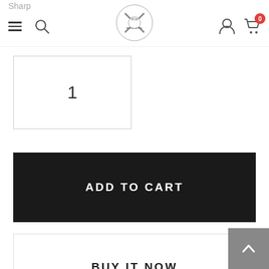Sharp (truncated) | Navigation bar with hamburger, search, logo, user, cart (0)
1
ADD TO CART
BUY IT NOW
Handmade By Master Swordsmith
Battle Ready Sharpness & Quality
Fast Worldwide Shipping